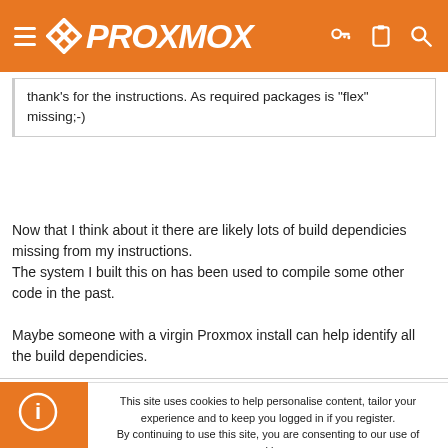PROXMOX
thank's for the instructions. As required packages is "flex" missing;-)
Now that I think about it there are likely lots of build dependicies missing from my instructions.
The system I built this on has been used to compile some other code in the past.

Maybe someone with a virgin Proxmox install can help identify all the build dependicies.
This site uses cookies to help personalise content, tailor your experience and to keep you logged in if you register.
By continuing to use this site, you are consenting to our use of cookies.